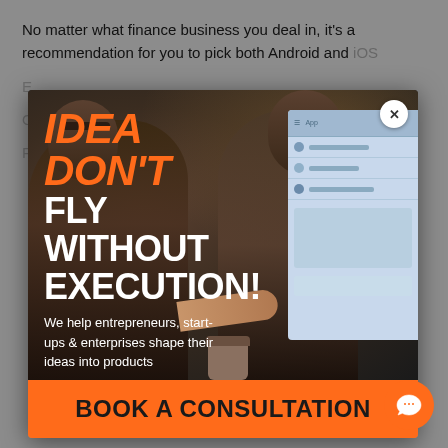No matter what finance business you deal in, it's a recommendation for you to pick both Android and iOS app development.
Every business...
On the...
For these reasons, the...
(bullet item 1)
(bullet item 2)
[Figure (screenshot): Advertisement popup overlay showing two professionals at a computer screen with orange text 'IDEA DON'T FLY WITHOUT EXECUTION!' and white text 'We help entrepreneurs, start-ups & enterprises shape their ideas into products', with an orange 'BOOK A CONSULTATION' call-to-action bar at the bottom and a close (X) button in the top right.]